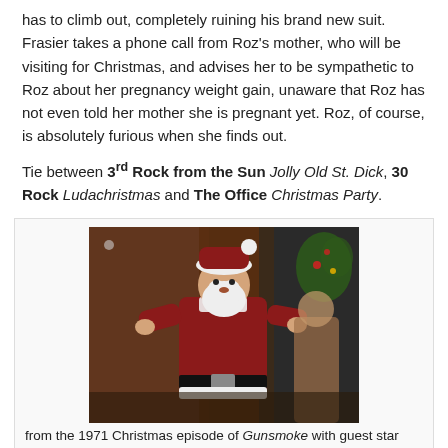has to climb out, completely ruining his brand new suit. Frasier takes a phone call from Roz's mother, who will be visiting for Christmas, and advises her to be sympathetic to Roz about her pregnancy weight gain, unaware that Roz has not even told her mother she is pregnant yet. Roz, of course, is absolutely furious when she finds out.
Tie between 3rd Rock from the Sun Jolly Old St. Dick, 30 Rock Ludachristmas and The Office Christmas Party.
[Figure (photo): A person dressed as Santa Claus in a red suit with white fur trim, white beard and hat, standing indoors in what appears to be a scene from a 1971 Christmas episode of Gunsmoke.]
from the 1971 Christmas episode of Gunsmoke with guest star Jack Elam.